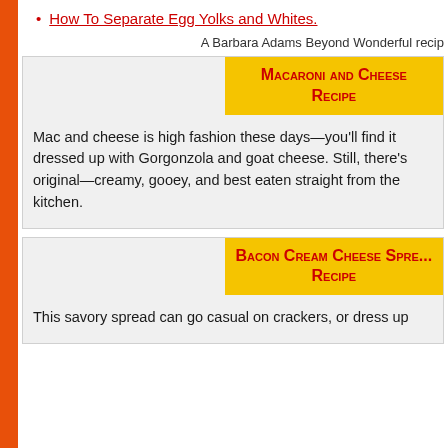How To Separate Egg Yolks and Whites.
A Barbara Adams Beyond Wonderful recip
Macaroni and Cheese Recipe
Mac and cheese is high fashion these days—you'll find it dressed up with Gorgonzola and goat cheese. Still, there's original—creamy, gooey, and best eaten straight from the kitchen.
Bacon Cream Cheese Spread Recipe
This savory spread can go casual on crackers, or dress up